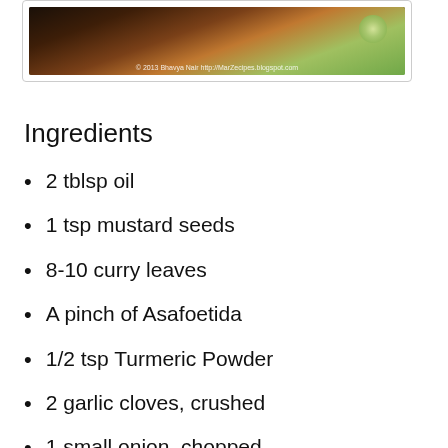[Figure (photo): Food photo showing spices, possibly a curry or spice mix with a lime wedge, dark background]
Ingredients
2 tblsp oil
1 tsp mustard seeds
8-10 curry leaves
A pinch of Asafoetida
1/2 tsp Turmeric Powder
2 garlic cloves, crushed
1 small onion, chopped
1 Tomato, chopped
1-2 tsp Red Chilli powder
1.5 tsp Goda Masala